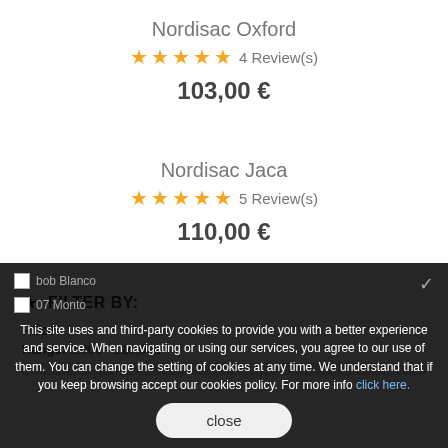Nordisac Oxford
★★★★★ 4 Review(s)
103,00 €
Nordisac Jaca
★★★★★ 5 Review(s)
110,00 €
★ FILTER BY:
Price
Range: 8,00€ - 110,00€
This site uses and third-party cookies to provide you with a better experience and service. When navigating or using our services, you agree to our use of them. You can change the setting of cookies at any time. We understand that if you keep browsing accept our cookies policy. For more info click here.
close